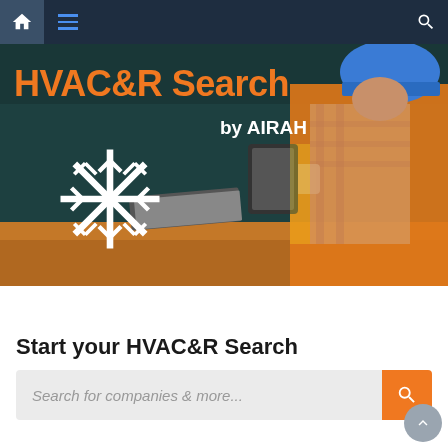[Figure (screenshot): Navigation bar with home icon, hamburger menu, and search icon on dark navy background]
[Figure (photo): HVAC&R Search by AIRAH banner image showing a worker in an orange vest at a workbench with a dark teal background, snowflake logo, and orange HVAC&R Search by AIRAH text]
Start your HVAC&R Search
Search for companies & more...